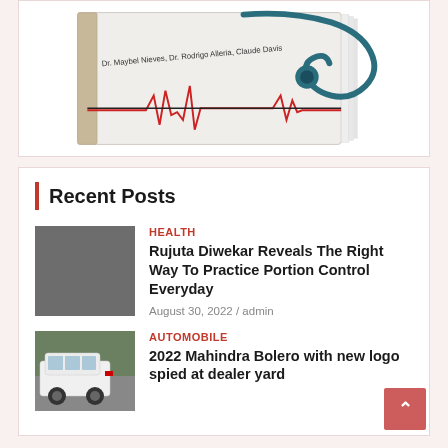[Figure (photo): A medical book with a stethoscope on top, featuring an ECG/heartbeat line. Authors listed: Dr. Maybel Nieves, Dr. Rodrigo Alleria, Claude Davis.]
Recent Posts
[Figure (photo): A gray placeholder thumbnail for a health post.]
HEALTH
Rujuta Diwekar Reveals The Right Way To Practice Portion Control Everyday
August 30, 2022 / admin
[Figure (photo): A white Mahindra Bolero SUV parked at a dealer yard, with trees and other vehicles visible.]
AUTOMOBILE
2022 Mahindra Bolero with new logo spied at dealer yard